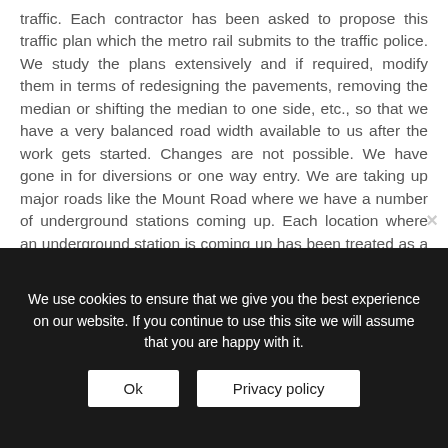traffic. Each contractor has been asked to propose this traffic plan which the metro rail submits to the traffic police. We study the plans extensively and if required, modify them in terms of redesigning the pavements, removing the median or shifting the median to one side, etc., so that we have a very balanced road width available to us after the work gets started. Changes are not possible. We have gone in for diversions or one way entry. We are taking up major roads like the Mount Road where we have a number of underground stations coming up. Each location where an underground station is coming up has been treated as a 'segment'.
We use cookies to ensure that we give you the best experience on our website. If you continue to use this site we will assume that you are happy with it.